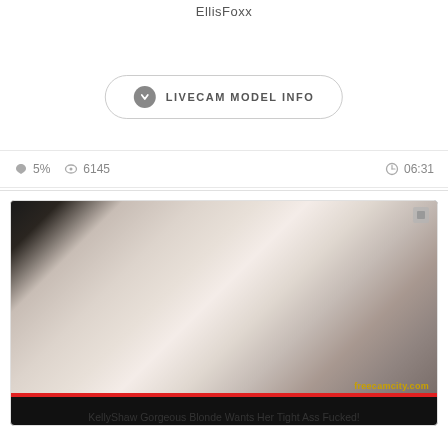EllisFoxx
LIVECAM MODEL INFO
5%  6145  06:31
[Figure (screenshot): Thumbnail image of a blonde person on a webcam stream with freecamcity.com watermark and red bar at bottom]
KellyShaw Gorgeous Blonde Wants Her Tight Ass Fucked!